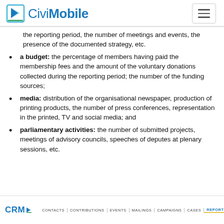CiviMobile
the reporting period, the number of meetings and events, the presence of the documented strategy, etc.
a budget: the percentage of members having paid the membership fees and the amount of the voluntary donations collected during the reporting period; the number of the funding sources;
media: distribution of the organisational newspaper, production of printing products, the number of press conferences, representation in the printed, TV and social media; and
parliamentary activities: the number of submitted projects, meetings of advisory councils, speeches of deputes at plenary sessions, etc.
[Figure (screenshot): CRM navigation bar screenshot showing menu items: CONTACTS, CONTRIBUTIONS, EVENTS, MAILINGS, CAMPAIGNS, CASES, REPORTS (active/highlighted), ADMINISTER, SEARCH]